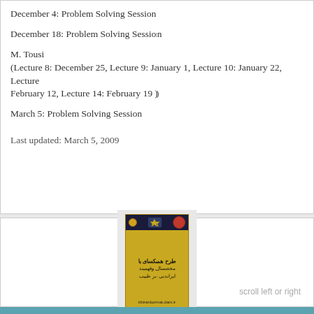December 4: Problem Solving Session
December 18: Problem Solving Session
M. Tousi
(Lecture 8: December 25, Lecture 9: January 1, Lecture 10: January 22, Lecture February 12, Lecture 14: February 19 )
March 5: Problem Solving Session
Last updated: March 5, 2009
[Figure (photo): A book cover with Arabic/Persian text on a gold/yellow background with a dark blue top bar, displayed inside a light gray wrapper. Text reads something related to cooperation with students and teachers.]